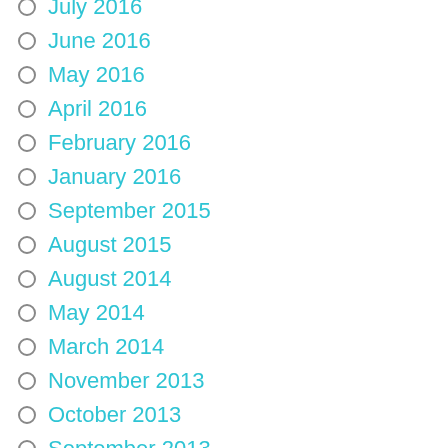July 2016
June 2016
May 2016
April 2016
February 2016
January 2016
September 2015
August 2015
August 2014
May 2014
March 2014
November 2013
October 2013
September 2013
August 2013